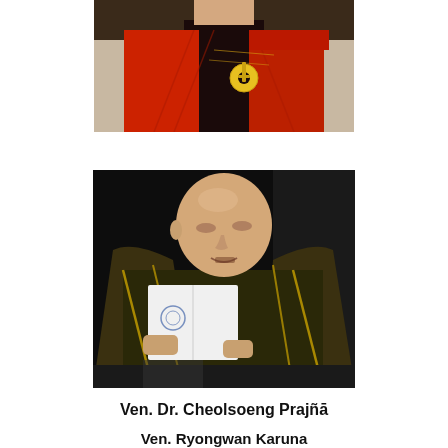[Figure (photo): Partial photo of a person wearing a red jacket with a yellow circular brooch/pin, dark background]
[Figure (photo): Photo of a bald man reading a booklet/pamphlet, wearing dark robes with gold trim, black background]
Ven. Dr. Cheolsoeng Prajñā
Ven. Ryongwan Karuna